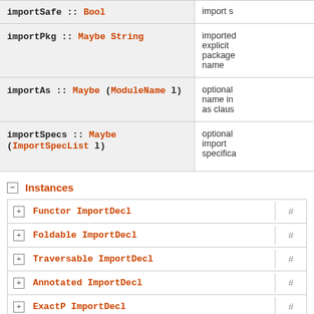| Signature | Description |
| --- | --- |
| importSafe :: Bool | import s |
| importPkg :: Maybe String | imported explicit package name |
| importAs :: Maybe (ModuleName l) | optional name in as clause |
| importSpecs :: Maybe (ImportSpecList l) | optional import specifications |
Instances
Functor ImportDecl #
Foldable ImportDecl #
Traversable ImportDecl #
Annotated ImportDecl #
ExactP ImportDecl #
Eq l => Eq (ImportDecl l) #
Data l => Data (ImportDecl l) #
Ord l => Ord (ImportDecl l)